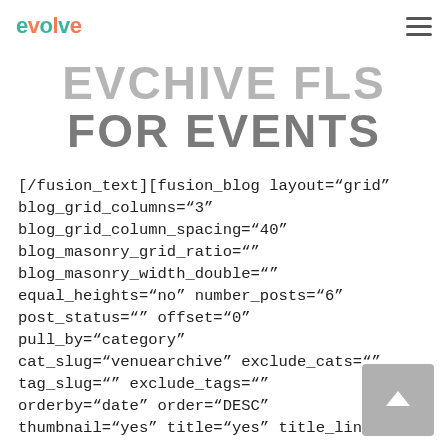evolve
FOR EVENTS
[/fusion_text][fusion_blog layout="grid" blog_grid_columns="3" blog_grid_column_spacing="40" blog_masonry_grid_ratio="" blog_masonry_width_double="" equal_heights="no" number_posts="6" post_status="" offset="0" pull_by="category" cat_slug="venuearchive" exclude_cats="" tag_slug="" exclude_tags="" orderby="date" order="DESC" thumbnail="yes" title="yes" title_link="yes"